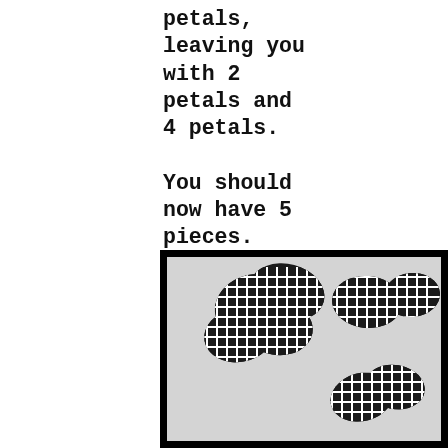petals, leaving you with 2 petals and 4 petals.

You should now have 5 pieces. It's time to start sticking!
[Figure (photo): Photo showing cut fabric flower petals with a black and white grid/check pattern arranged on a light gray background. The pieces appear to be shamrock or flower shaped cutouts.]